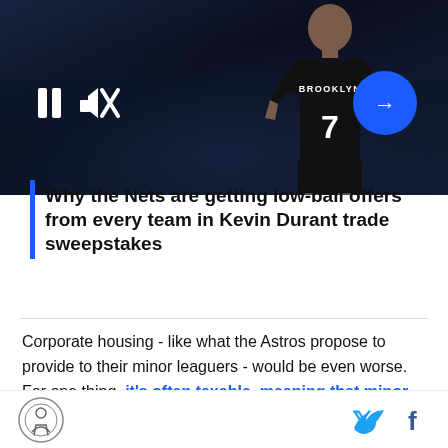[Figure (screenshot): Video banner showing a Brooklyn Nets basketball player wearing jersey #7 in a dark arena setting, with video playback controls (pause button, mute icon) and a blue circular arrow/next button overlay]
Why the Nets are getting low-ball offers from every team in Kevin Durant trade sweepstakes
Corporate housing - like what the Astros propose to provide to their minor leaguers - would be even worse. For one thing, it's often taxable, meaning that minor leaguers are paying taxes on their housing, and could end up making even less money (the Astros, on the other hand, get a tax write-off). But putting that aside, disparities in economic and bargaining power
Footer with site logo and Twitter/Facebook social icons